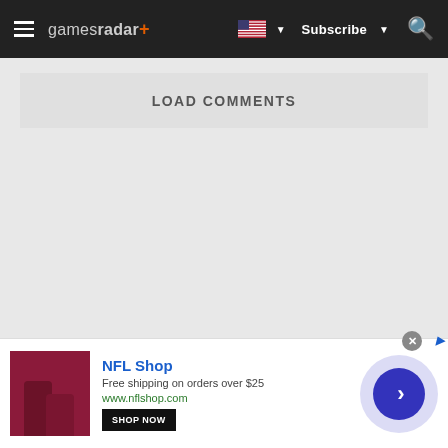gamesradar+ — Subscribe — [search icon]
LOAD COMMENTS
[Figure (screenshot): Advertisement banner for NFL Shop showing dark red product image, NFL Shop branding, 'Free shipping on orders over $25', www.nflshop.com, SHOP NOW button, and a circular navigation arrow on the right.]